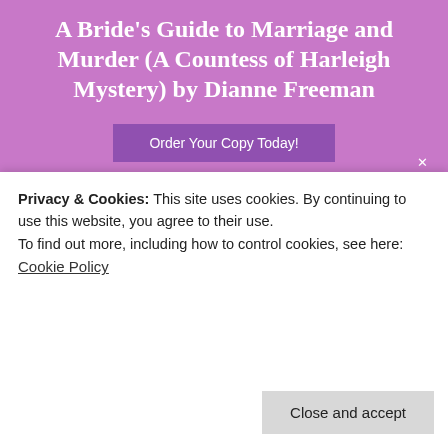A Bride's Guide to Marriage and Murder (A Countess of Harleigh Mystery) by Dianne Freeman
Order Your Copy Today!
[Figure (illustration): Four book covers for the Cheese Shop Mystery series by Avery Aames: The Long Quiche Goodbye, Lost and Fondue, Clobbered by Camembert, To Brie or Not to Brie]
Privacy & Cookies: This site uses cookies. By continuing to use this website, you agree to their use.
To find out more, including how to control cookies, see here: Cookie Policy
Close and accept